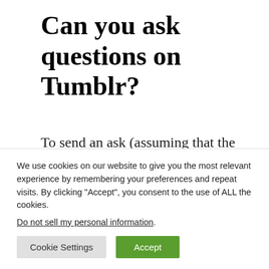Can you ask questions on Tumblr?
To send an ask (assuming that the blog has it turned on): In the app: Go to a blog, tap the person icon, and then Ask.
ARTICLE
NEXT AF
We use cookies on our website to give you the most relevant experience by remembering your preferences and repeat visits. By clicking “Accept”, you consent to the use of ALL the cookies.
Do not sell my personal information.
Cookie Settings
Accept